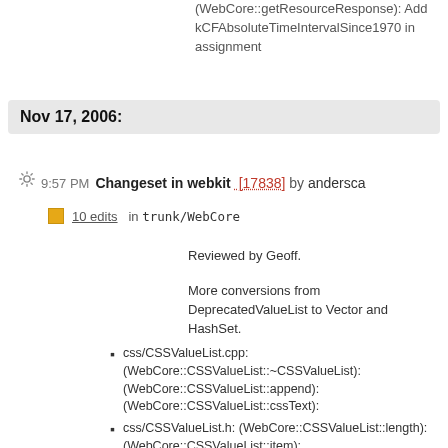(WebCore::getResourceResponse): Add kCFAbsoluteTimeIntervalSince1970 in assignment
Nov 17, 2006:
9:57 PM Changeset in webkit [17838] by andersca
10 edits   in trunk/WebCore
Reviewed by Geoff.
More conversions from DeprecatedValueList to Vector and HashSet.
css/CSSValueList.cpp: (WebCore::CSSValueList::~CSSValueList): (WebCore::CSSValueList::append): (WebCore::CSSValueList::cssText):
css/CSSValueList.h: (WebCore::CSSValueList::length): (WebCore::CSSValueList::item):
dom/Document.cpp: (WebCore::Document::attachNodeIterator): (WebCore::Document::notifyBeforeNodeRemoval):
dom/Document.h:
ksvg2/svg/SVGGradientElement.cpp: (WebCore::SVGGradientElement::notifyAttributeChange):
ksvg2/svg/SVGPatternElement.cpp: (WebCore::SVGPatternElement::notifyClientsToRepaint):
platform/graphics/svg/SVGResource.cpp: